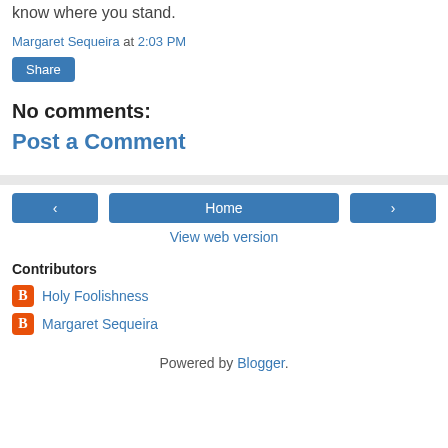know where you stand.
Margaret Sequeira at 2:03 PM
Share
No comments:
Post a Comment
Home
View web version
Contributors
Holy Foolishness
Margaret Sequeira
Powered by Blogger.